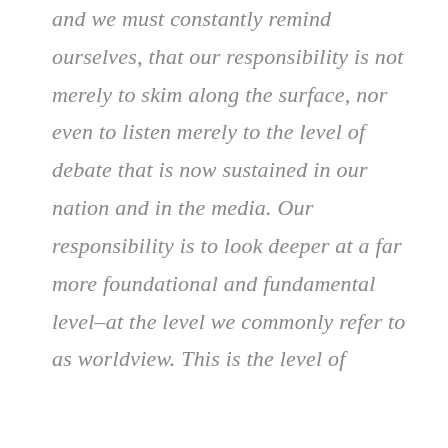and we must constantly remind ourselves, that our responsibility is not merely to skim along the surface, nor even to listen merely to the level of debate that is now sustained in our nation and in the media. Our responsibility is to look deeper at a far more foundational and fundamental level–at the level we commonly refer to as worldview. This is the level of